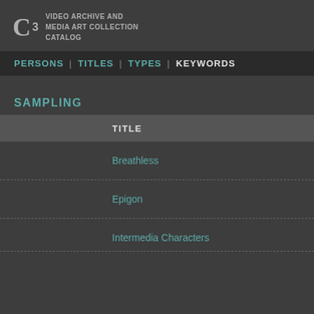C3 VIDEO ARCHIVE AND MEDIA ART COLLECTION CATALOG
PERSONS | TITLES | TYPES | KEYWORDS
SAMPLING
| TITLE |
| --- |
| Breathless |
| Epigon |
| Intermedia Characters |